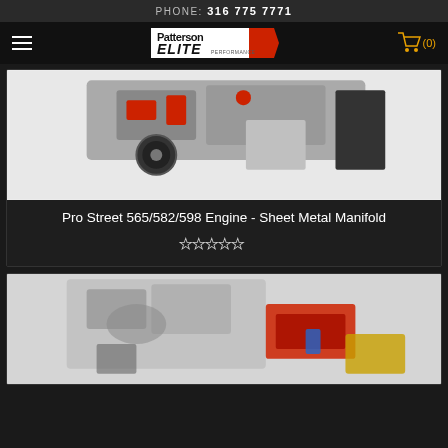PHONE: 316 775 7771
[Figure (logo): Patterson Elite Performance logo with hamburger menu and shopping cart (0)]
[Figure (photo): Pro Street engine with sheet metal manifold, showing red and silver components with belt drive system on white background]
Pro Street 565/582/598 Engine - Sheet Metal Manifold
[Figure (other): Five empty star rating icons]
[Figure (photo): Second engine product photo showing carbureted engine with multiple components, blurred background]